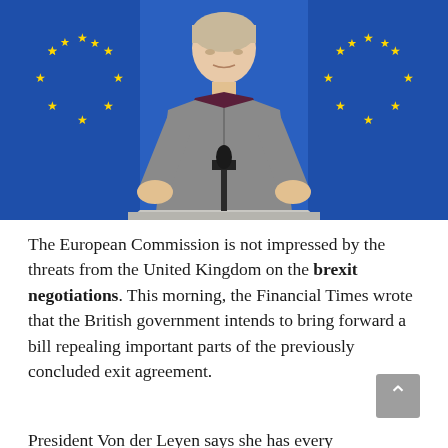[Figure (photo): A woman, presumably European Commission President Ursula von der Leyen, standing at a podium with EU flags (blue with yellow stars) in the background, wearing a grey suit with dark purple collar.]
The European Commission is not impressed by the threats from the United Kingdom on the brexit negotiations. This morning, the Financial Times wrote that the British government intends to bring forward a bill repealing important parts of the previously concluded exit agreement.
President Von der Leyen says she has every